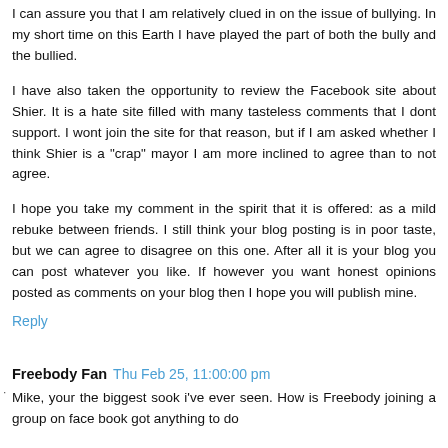I can assure you that I am relatively clued in on the issue of bullying. In my short time on this Earth I have played the part of both the bully and the bullied.
I have also taken the opportunity to review the Facebook site about Shier. It is a hate site filled with many tasteless comments that I dont support. I wont join the site for that reason, but if I am asked whether I think Shier is a "crap" mayor I am more inclined to agree than to not agree.
I hope you take my comment in the spirit that it is offered: as a mild rebuke between friends. I still think your blog posting is in poor taste, but we can agree to disagree on this one. After all it is your blog you can post whatever you like. If however you want honest opinions posted as comments on your blog then I hope you will publish mine.
Reply
Freebody Fan  Thu Feb 25, 11:00:00 pm
Mike, your the biggest sook i've ever seen. How is Freebody joining a group on face book got anything to do